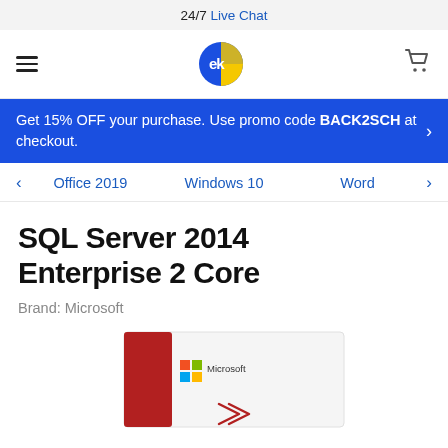24/7 Live Chat
[Figure (logo): EK software store logo - blue and yellow circular icon with 'ek' letters]
Get 15% OFF your purchase. Use promo code BACK2SCH at checkout.
Office 2019
Windows 10
Word
SQL Server 2014 Enterprise 2 Core
Brand: Microsoft
[Figure (photo): Microsoft SQL Server 2014 Enterprise 2 Core product box - white box with red spine, Microsoft logo and branding visible]